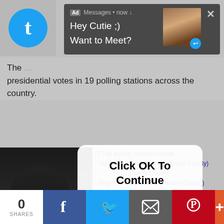[Figure (screenshot): Twitter bird logo in blue circle on gray background]
[Figure (screenshot): Ad notification popup with dark gray background showing 'Messages • now' header with Ad badge, text 'Hey Cutie ;) Want to Meet?' and a thumbnail image of a person on the right with a blue reply icon]
The presidential votes in 19 polling stations across the country.
[Figure (screenshot): Modal dialog overlay with white rounded rectangle containing bold text 'Click OK To Continue' and blue 'OK' button link]
The polling stations include:-
- Aldai Hills Primary School (Nandi County)
- (Nandi County)
- Belgut Primary School (Kericho County)
- Kapsuser Primary School (Kericho County)
- Chepbutum Primary School (Kericho County)
- (Mombasa County)
[Figure (screenshot): Video player with black background showing 'THIS DAY IN HISTORY' text, blue angular logo/graphic, play button, 'AUGUST' text, and video controls at bottom]
[Figure (screenshot): Bottom social sharing bar with: 0 SHARES (white), Facebook icon (blue), Twitter icon (light blue), Email icon (gray), Pinterest icon (red), + button (orange-red)]